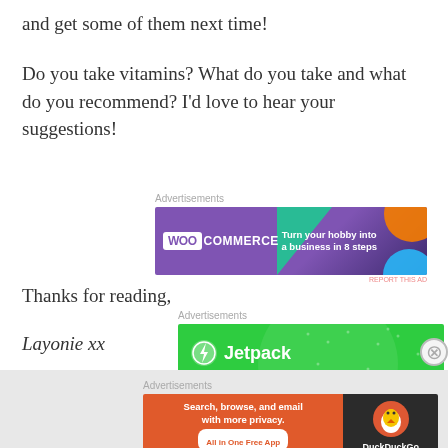and get some of them next time!
Do you take vitamins? What do you take and what do you recommend? I'd love to hear your suggestions!
[Figure (other): WooCommerce advertisement banner: purple background with green triangle and orange/blue circles, WOO COMMERCE logo on left, text 'Turn your hobby into a business in 8 steps' on right]
Thanks for reading,
Layonie xx
[Figure (other): Jetpack advertisement banner: green background with Jetpack logo and lightning bolt icon]
[Figure (other): DuckDuckGo advertisement banner: orange left side with text 'Search, browse, and email with more privacy. All in One Free App', dark right side with DuckDuckGo logo]